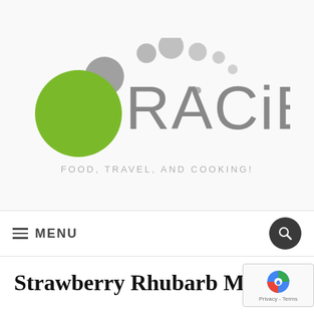[Figure (logo): ORACIBO logo with green circle and grey decorative circles, subtitle: FOOD, TRAVEL, AND COOKING!]
≡ MENU
Strawberry Rhubarb Muff…